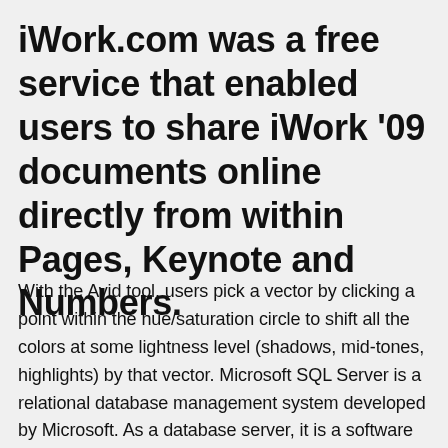iWork.com was a free service that enabled users to share iWork '09 documents online directly from within Pages, Keynote and Numbers.
With the Avid tool, users pick a vector by clicking a point within the hue/saturation circle to shift all the colors at some lightness level (shadows, mid-tones, highlights) by that vector. Microsoft SQL Server is a relational database management system developed by Microsoft. As a database server, it is a software product with the primary function of storing and retrieving data as requested by other software applications—which... PDF - Free download as Word Doc (.doc / .docx), PDF File (.pdf), Text File (.txt) or read online for free. or more. Download. Free download...